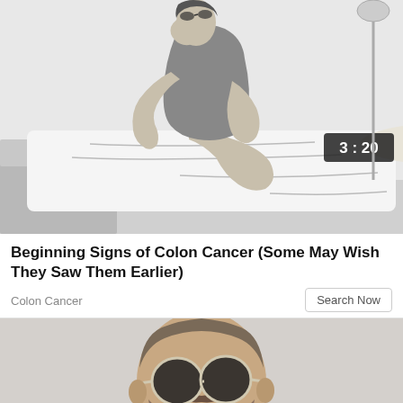[Figure (illustration): Animated illustration of a person sitting on a bed in distress, hunched over with hand on face, with a video duration badge showing 3:20 in the top right corner]
Beginning Signs of Colon Cancer (Some May Wish They Saw Them Earlier)
Colon Cancer
[Figure (photo): Photo of a middle-aged bearded man with round sunglasses, cropped at the shoulders, against a light background]